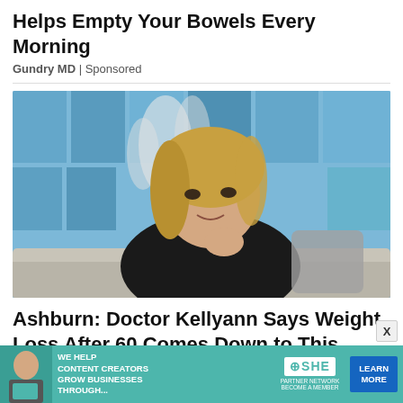Helps Empty Your Bowels Every Morning
Gundry MD | Sponsored
[Figure (photo): A blonde woman in a black outfit seated on a sofa, smiling, with blue geometric background panels]
Ashburn: Doctor Kellyann Says Weight Loss After 60 Comes Down to This
Dr. Kellyann | Sponsored
[Figure (infographic): SHE Media partner network banner advertisement with text: WE HELP CONTENT CREATORS GROW BUSINESSES THROUGH... and a LEARN MORE button]